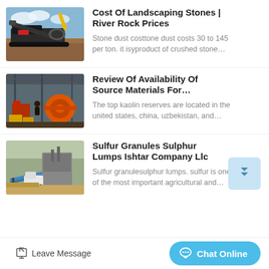[Figure (photo): Industrial stone crusher machine outdoors with blue sky background]
Cost Of Landscaping Stones | River Rock Prices
Stone dust costtone dust costs 30 to 145 per ton. it isyproduct of crushed stone…
[Figure (photo): Workers and heavy machinery at an industrial site under a metal roof structure]
Review Of Availability Of Source Materials For…
The top kaolin reserves are located in the united states, china, uzbekistan, and…
[Figure (photo): Industrial facility with conveyor belts and processing equipment outdoors]
Sulfur Granules Sulphur Lumps Ishtar Company Llc
Sulfur granulesulphur lumps. sulfur is one of the most important agricultural and…
Leave Message
Chat Online